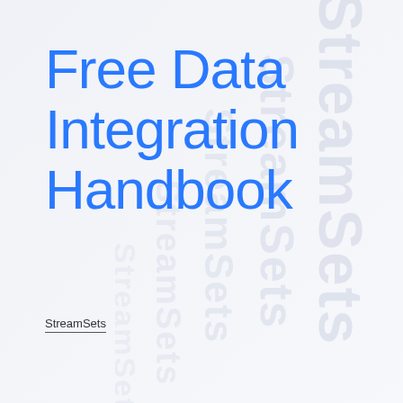Free Data Integration Handbook
StreamSets